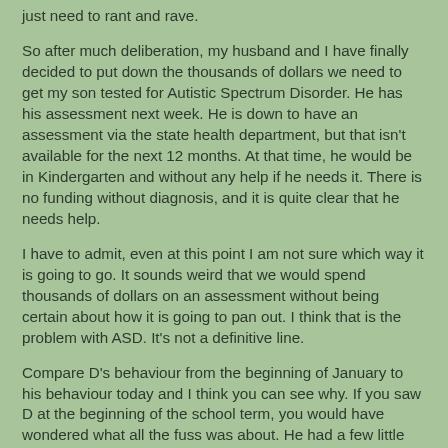just need to rant and rave.
So after much deliberation, my husband and I have finally decided to put down the thousands of dollars we need to get my son tested for Autistic Spectrum Disorder. He has his assessment next week. He is down to have an assessment via the state health department, but that isn't available for the next 12 months. At that time, he would be in Kindergarten and without any help if he needs it. There is no funding without diagnosis, and it is quite clear that he needs help.
I have to admit, even at this point I am not sure which way it is going to go. It sounds weird that we would spend thousands of dollars on an assessment without being certain about how it is going to pan out. I think that is the problem with ASD. It's not a definitive line.
Compare D's behaviour from the beginning of January to his behaviour today and I think you can see why. If you saw D at the beginning of the school term, you would have wondered what all the fuss was about. He had a few little quirks, but nothing that warranted mention from the class teacher.